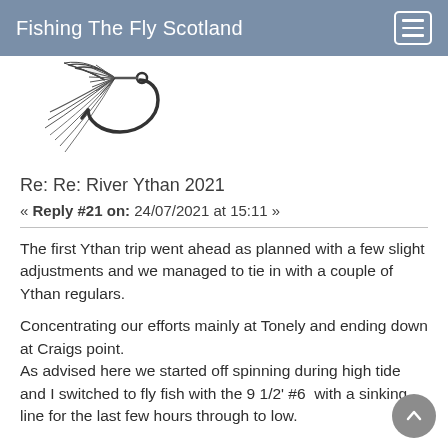Fishing The Fly Scotland
[Figure (illustration): Black and white illustration of a fishing fly (hook with feathers/hackle tied on it)]
Re: Re: River Ythan 2021
« Reply #21 on: 24/07/2021 at 15:11 »
The first Ythan trip went ahead as planned with a few slight adjustments and we managed to tie in with a couple of Ythan regulars.
Concentrating our efforts mainly at Tonely and ending down at Craigs point.
As advised here we started off spinning during high tide and I switched to fly fish with the 9 1/2' #6  with a sinking line for the last few hours through to low.